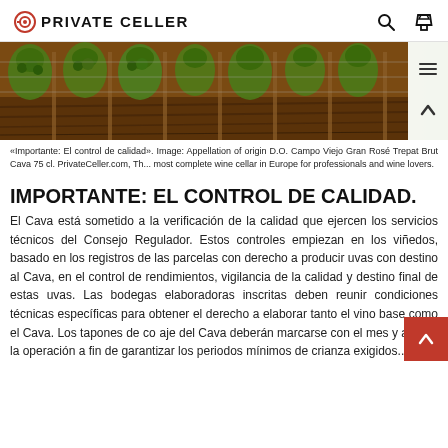PRIVATE CELLER
[Figure (photo): Vineyard rows with green grape clusters on wooden posts, warm brown/orange tones]
«Importante: El control de calidad». Image: Appellation of origin D.O. Campo Viejo Gran Rosé Trepat Brut Cava 75 cl. PrivateCeller.com, Th... most complete wine cellar in Europe for professionals and wine lovers.
IMPORTANTE: EL CONTROL DE CALIDAD.
El Cava está sometido a la verificación de la calidad que ejercen los servicios técnicos del Consejo Regulador. Estos controles empiezan en los viñedos, basado en los registros de las parcelas con derecho a producir uvas con destino al Cava, en el control de rendimientos, vigilancia de la calidad y destino final de estas uvas. Las bodegas elaboradoras inscritas deben reunir condiciones técnicas específicas para obtener el derecho a elaborar tanto el vino base como el Cava. Los tapones de coraje del Cava deberán marcarse con el mes y año de la operación a fin de garantizar los periodos mínimos de crianza exigidos...